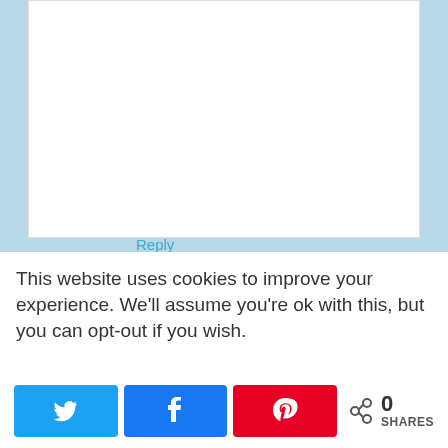Reply
Cupcake says
November 8, 2014 at 6:48 pm
This website uses cookies to improve your experience. We'll assume you're ok with this, but you can opt-out if you wish.
0 SHARES